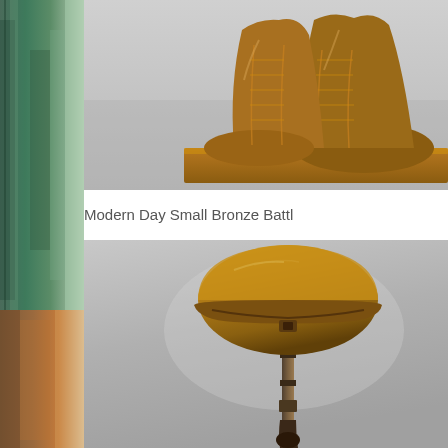[Figure (photo): Left side vertical strip showing a partial view of a bronze or patinated sculpture in green/brown tones]
[Figure (photo): Bronze sculpture of military combat boots on a rectangular base, photographed against a gray background]
Modern Day Small Bronze Battl
[Figure (photo): Bronze sculpture of a military helmet (ACH/PASGT style) on a rifle with boots (battle cross/fallen soldier tribute), photographed against a gray background]